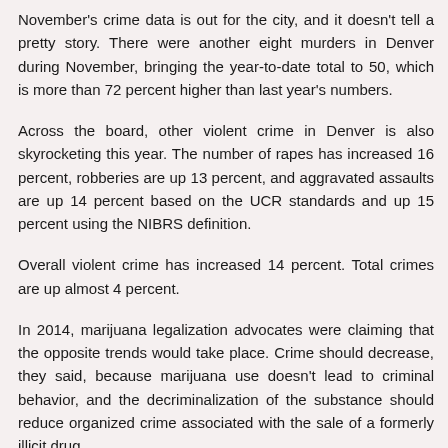November's crime data is out for the city, and it doesn't tell a pretty story. There were another eight murders in Denver during November, bringing the year-to-date total to 50, which is more than 72 percent higher than last year's numbers.
Across the board, other violent crime in Denver is also skyrocketing this year. The number of rapes has increased 16 percent, robberies are up 13 percent, and aggravated assaults are up 14 percent based on the UCR standards and up 15 percent using the NIBRS definition.
Overall violent crime has increased 14 percent. Total crimes are up almost 4 percent.
In 2014, marijuana legalization advocates were claiming that the opposite trends would take place. Crime should decrease, they said, because marijuana use doesn't lead to criminal behavior, and the decriminalization of the substance should reduce organized crime associated with the sale of a formerly illicit drug.